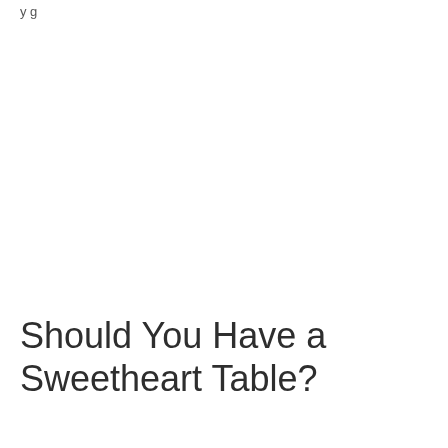y g
Should You Have a Sweetheart Table?